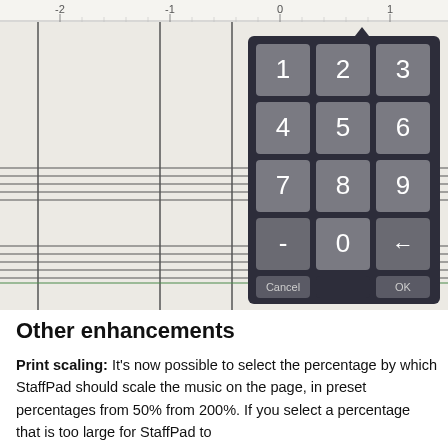[Figure (screenshot): A screenshot of music notation software (StaffPad) showing a sheet music staff with a numeric keypad overlay popup. The ruler at top shows values -2, -1, 0, 1. The numpad has digits 1-9, minus, 0, backspace, Cancel, and OK buttons on a dark background.]
Other enhancements
Print scaling: It's now possible to select the percentage by which StaffPad should scale the music on the page, in preset percentages from 50% from 200%. If you select a percentage that is too large for StaffPad to comfortably fit the music on the page, it will apply the